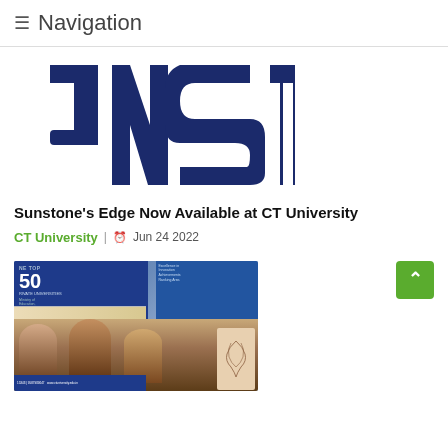≡ Navigation
[Figure (logo): JNST logo in large dark navy blue letters]
Sunstone's Edge Now Available at CT University
CT University  |  Jun 24 2022
[Figure (photo): Photo of people at an event in front of a banner reading 'TOP 50 PRIVATE UNIVERSITIES' in India, with a university building visible.]